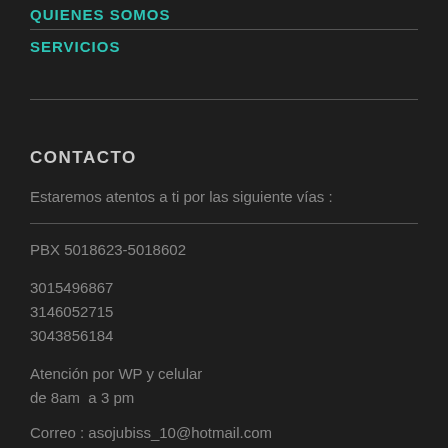QUIENES SOMOS
SERVICIOS
CONTACTO
Estaremos atentos a ti por las siguiente vías :
PBX 5018623-5018602
3015496867
3146052715
3043856184
Atención por WP y celular
de 8am  a 3 pm
Correo : asojubiss_10@hotmail.com